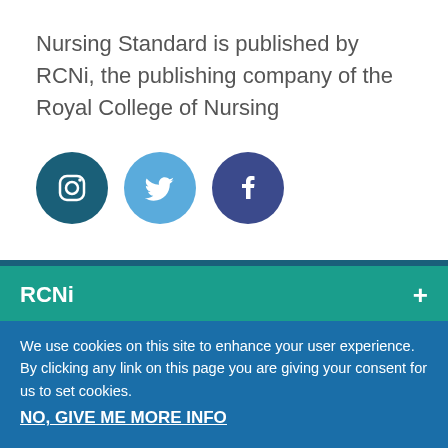Nursing Standard is published by RCNi, the publishing company of the Royal College of Nursing
[Figure (illustration): Three social media icons in circles: Instagram (dark teal), Twitter (light blue), Facebook (dark blue/purple)]
RCNi
We use cookies on this site to enhance your user experience. By clicking any link on this page you are giving your consent for us to set cookies.
NO, GIVE ME MORE INFO
OK, I AGREE